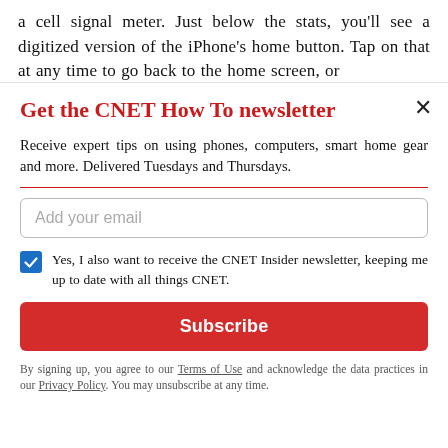a cell signal meter. Just below the stats, you'll see a digitized version of the iPhone's home button. Tap on that at any time to go back to the home screen, or
Get the CNET How To newsletter
Receive expert tips on using phones, computers, smart home gear and more. Delivered Tuesdays and Thursdays.
Add your email
Yes, I also want to receive the CNET Insider newsletter, keeping me up to date with all things CNET.
Subscribe
By signing up, you agree to our Terms of Use and acknowledge the data practices in our Privacy Policy. You may unsubscribe at any time.